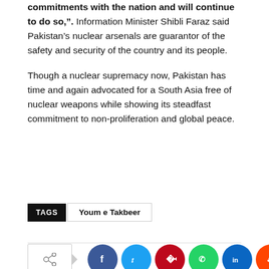commitments with the nation and will continue to do so,". Information Minister Shibli Faraz said Pakistan's nuclear arsenals are guarantor of the safety and security of the country and its people.
Though a nuclear supremacy now, Pakistan has time and again advocated for a South Asia free of nuclear weapons while showing its steadfast commitment to non-proliferation and global peace.
TAGS: Youm e Takbeer
[Figure (infographic): Social sharing buttons row: share icon box with arrow, followed by circular buttons for Facebook, Twitter, Pinterest, WhatsApp, LinkedIn, Reddit, and a more (+) button]